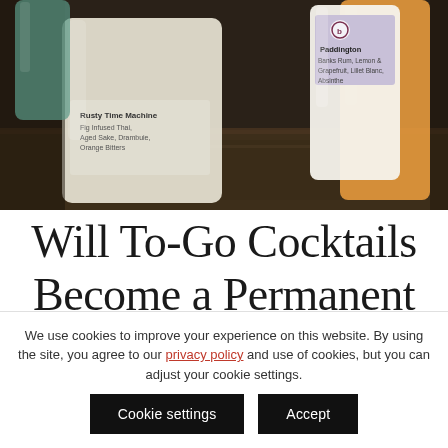[Figure (photo): Close-up photo of bottled cocktails on a bar surface. Visible labels include 'Paddington' (Banks Rum, Lemon & Grapefruit, Lillet Blanc, Absinthe) and 'Rusty Time Machine' (Fig Infused Thai, Aged Sake, Drambuie, Orange Bitters). Bottles are small glass jars/bottles with paper labels, set on a dark metallic bar surface.]
Will To-Go Cocktails Become a Permanent
We use cookies to improve your experience on this website. By using the site, you agree to our privacy policy and use of cookies, but you can adjust your cookie settings.